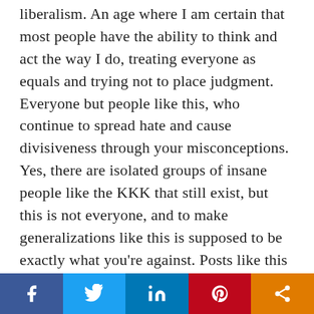liberalism. An age where I am certain that most people have the ability to think and act the way I do, treating everyone as equals and trying not to place judgment. Everyone but people like this, who continue to spread hate and cause divisiveness through your misconceptions. Yes, there are isolated groups of insane people like the KKK that still exist, but this is not everyone, and to make generalizations like this is supposed to be exactly what you're against. Posts like this do not do anything to educate white people or anyone else. Posts like this are not against
[Figure (other): Social media share bar with five buttons: Facebook (blue), Twitter (light blue), LinkedIn (dark blue), Pinterest (red), and a share/other button (orange)]